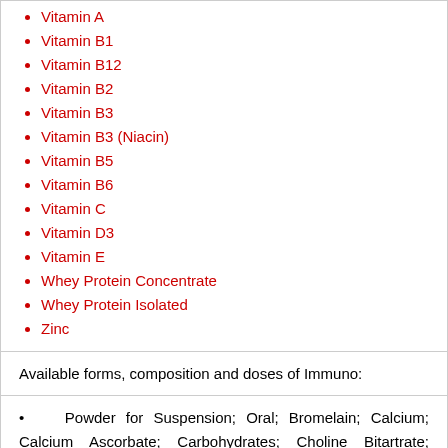Vitamin A
Vitamin B1
Vitamin B12
Vitamin B2
Vitamin B3
Vitamin B3 (Niacin)
Vitamin B5
Vitamin B6
Vitamin C
Vitamin D3
Vitamin E
Whey Protein Concentrate
Whey Protein Isolated
Zinc
Available forms, composition and doses of Immuno:
Powder for Suspension; Oral; Bromelain; Calcium; Calcium Ascorbate; Carbohydrates; Choline Bitartrate; Colostrum Bovine; Dextrose Monohydrate; Fat; Folic Acid; Gamma-Orizanol; Grape seed extract; Green Tea Extract; Inulin; Iodine; Iron; Lactalbumin; Lactoferrin; Lactoperoxidase; Lecithin; Magnesium; Malt